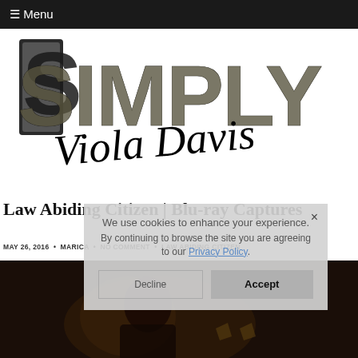☰ Menu
[Figure (logo): Simply Viola Davis logo — large bold letters SIMPLY with photo collage fill, with cursive script 'Viola Davis' overlaid]
Law Abiding Citizen | Blu-ray Captures
MAY 26, 2016 • MARICA • NO COMMENT • LAW ABIDING CITIZEN
[Figure (photo): Dark cinematic still from Law Abiding Citizen showing a person in low light]
We use cookies to enhance your experience. By continuing to browse the site you are agreeing to our Privacy Policy.
Decline    Accept